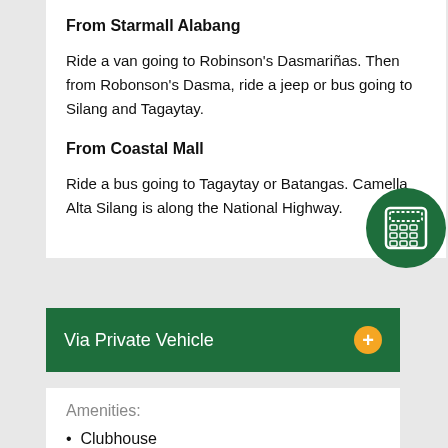From Starmall Alabang
Ride a van going to Robinson's Dasmariñas. Then from Robonson's Dasma, ride a jeep or bus going to Silang and Tagaytay.
From Coastal Mall
Ride a bus going to Tagaytay or Batangas. Camella Alta Silang is along the National Highway.
[Figure (illustration): Calculator icon in a dark green circle]
Via Private Vehicle
Amenities:
Clubhouse